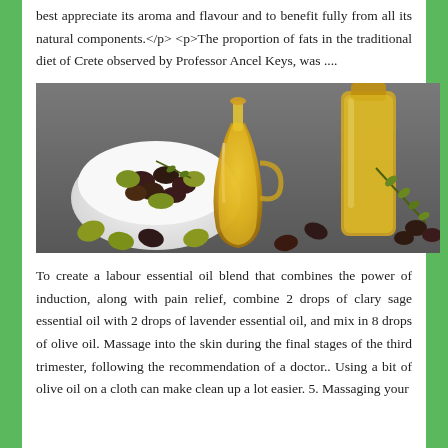best appreciate its aroma and flavour and to benefit fully from all its natural components.</p> <p>The proportion of fats in the traditional diet of Crete observed by Professor Ancel Keys, was ....
[Figure (photo): Photo of olive oil in glass bottles/decanters with a bowl of mixed green and black olives, olive branches, and loose olives scattered on a dark surface]
To create a labour essential oil blend that combines the power of induction, along with pain relief, combine 2 drops of clary sage essential oil with 2 drops of lavender essential oil, and mix in 8 drops of olive oil. Massage into the skin during the final stages of the third trimester, following the recommendation of a doctor.. Using a bit of olive oil on a cloth can make clean up a lot easier. 5. Massaging your